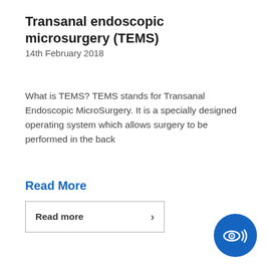Transanal endoscopic microsurgery (TEMS)
14th February 2018
What is TEMS? TEMS stands for Transanal Endoscopic MicroSurgery. It is a specially designed operating system which allows surgery to be performed in the back
Read More
Read more ›